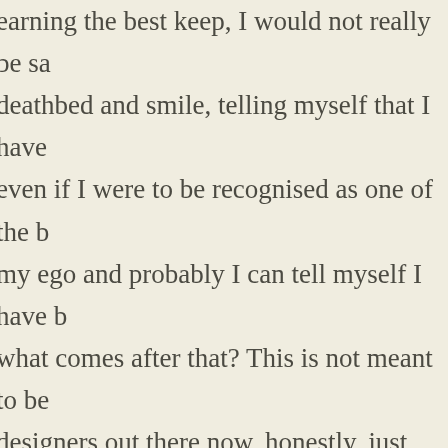earning the best keep, I would not really be sitting on my deathbed and smile, telling myself that I have lived a good life, even if I were to be recognised as one of the best. It will feed my ego and probably I can tell myself I have been successful, but what comes after that? This is not meant to be a diss to the designers out there now, honestly, just that different things make happy, and I would not say that being one of them would make my work but it is just not what my life should revolve around.
The picture changes significantly when one is actually doing good with the work. I have always been a fan of Tibor Kalman, his creative, provocative work, but rather that the fact that he being himself. The work he does encourages people not to buy into the whole materialistic lifestyle and most importantly, he is one of those industrial designers who designs wheelchairs for handicapped people to move more freely, for example, or conceptualises the ad that carries a life-changing message.
Yet I asked myself honestly if I thought I would fit into that, and the answer was no. It is not because I am being modest, very honest assessment of my own self. I have creative ability but it has never been in that league. I will not s